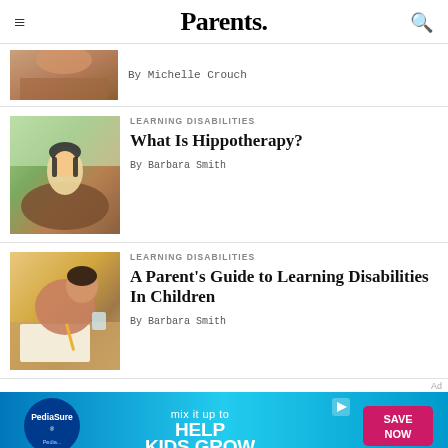Parents.
By Michelle Crouch
[Figure (photo): Child on horseback, partial image at top]
[Figure (photo): Girl wearing riding helmet smiling while on a horse]
LEARNING DISABILITIES
What Is Hippotherapy?
By Barbara Smith
[Figure (photo): Child drawing or writing at a table]
LEARNING DISABILITIES
A Parent's Guide to Learning Disabilities In Children
By Barbara Smith
[Figure (infographic): PediaSure advertisement: mix it up to HELP KIDS GROW, SAVE NOW]